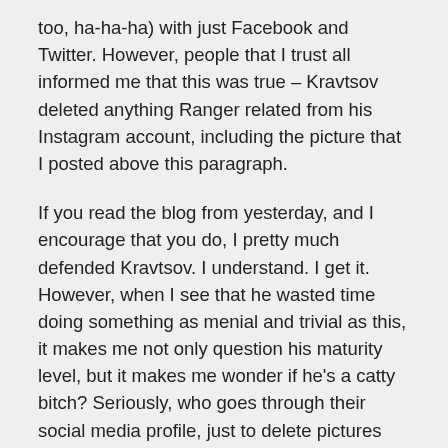too, ha-ha-ha) with just Facebook and Twitter. However, people that I trust all informed me that this was true – Kravtsov deleted anything Ranger related from his Instagram account, including the picture that I posted above this paragraph.
If you read the blog from yesterday, and I encourage that you do, I pretty much defended Kravtsov. I understand. I get it. However, when I see that he wasted time doing something as menial and trivial as this, it makes me not only question his maturity level, but it makes me wonder if he's a catty bitch? Seriously, who goes through their social media profile, just to delete pictures from a past job? To me, this is like the jilted ex-lover, who goes through all her photo albums and cuts out every picture of her ex-husband or ex-boyfriend.